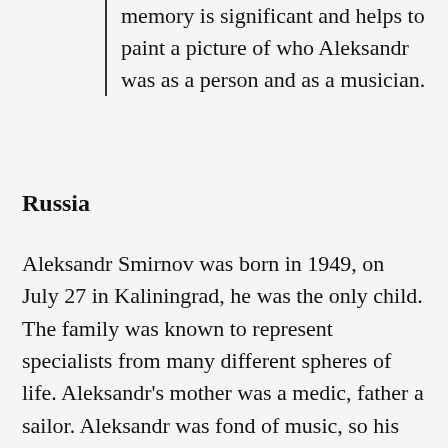memory is significant and helps to paint a picture of who Aleksandr was as a person and as a musician.
Russia
Aleksandr Smirnov was born in 1949, on July 27 in Kaliningrad, he was the only child. The family was known to represent specialists from many different spheres of life. Aleksandr's mother was a medic, father a sailor. Aleksandr was fond of music, so his parents enrolled him into a music school for children to play the